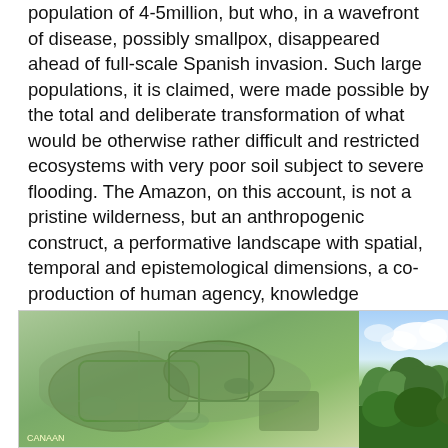population of 4-5million, but who, in a wavefront of disease, possibly smallpox, disappeared ahead of full-scale Spanish invasion. Such large populations, it is claimed, were made possible by the total and deliberate transformation of what would be otherwise rather difficult and restricted ecosystems with very poor soil subject to severe flooding. The Amazon, on this account, is not a pristine wilderness, but an anthropogenic construct, a performative landscape with spatial, temporal and epistemological dimensions, a co-production of human agency, knowledge practices, movement and the environment. Until recently what has gone unnoticed, seemingly invisible in the dense rainforests, were the massive complexes of geometrical earthworks, mounds, causeways, canals, roads, fishtraps and terra preta.[25]
[Figure (photo): Left photo: aerial or overhead view of geometrical earthworks and mounds in the Amazon rainforest, showing green vegetation with geometric patterns visible. Right photo: lush tropical forest canopy with blue sky and clouds visible above.]